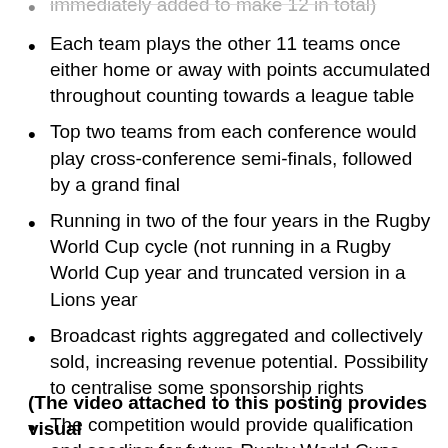Each team plays the other 11 teams once either home or away with points accumulated throughout counting towards a league table
Top two teams from each conference would play cross-conference semi-finals, followed by a grand final
Running in two of the four years in the Rugby World Cup cycle (not running in a Rugby World Cup year and truncated version in a Lions year
Broadcast rights aggregated and collectively sold, increasing revenue potential. Possibility to centralise some sponsorship rights
The competition would provide qualification and seeding for future Rugby World Cups
Rugby World Cup to be enhanced as the pinnacle global event, potentially moving to 24 teams in 2027
(The video attached to this posting provides visual